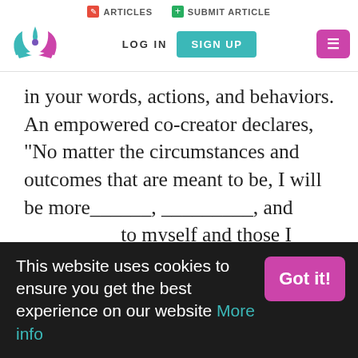ARTICLES   SUBMIT ARTICLE   LOG IN   SIGN UP
in your words, actions, and behaviors. An empowered co-creator declares, “No matter the circumstances and outcomes that are meant to be, I will be more______, _________, and _________ to myself and those I encounter.” When we focus too heavily on manifesting outcomes, it turns the future into your
This website uses cookies to ensure you get the best experience on our website More info